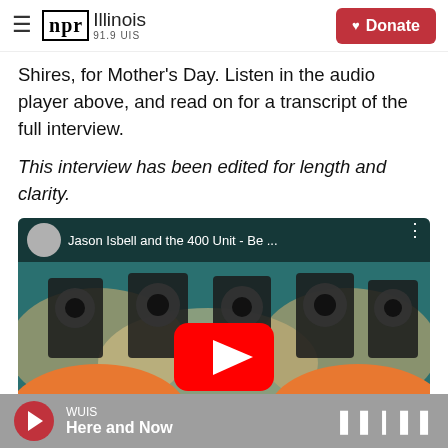[Figure (screenshot): NPR Illinois 91.9 UIS header with hamburger menu, NPR Illinois logo, and red Donate button]
Shires, for Mother's Day. Listen in the audio player above, and read on for a transcript of the full interview.
This interview has been edited for length and clarity.
[Figure (screenshot): YouTube video embed showing Jason Isbell and the 400 Unit - Be ... with speaker imagery and teal background, red YouTube play button in center]
[Figure (screenshot): WUIS audio player bar at bottom showing Here and Now with red play button and waveform icon]